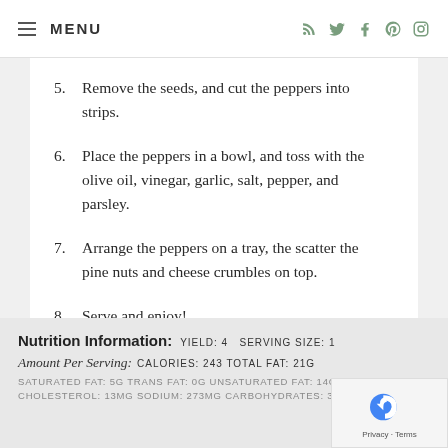MENU
5. Remove the seeds, and cut the peppers into strips.
6. Place the peppers in a bowl, and toss with the olive oil, vinegar, garlic, salt, pepper, and parsley.
7. Arrange the peppers on a tray, the scatter the pine nuts and cheese crumbles on top.
8. Serve and enjoy!
Nutrition Information: YIELD: 4  SERVING SIZE: 1
Amount Per Serving: CALORIES: 243 TOTAL FAT: 21g
SATURATED FAT: 5g TRANS FAT: 0g UNSATURATED FAT: 14g
CHOLESTEROL: 13mg SODIUM: 273mg CARBOHYDRATES: 3g